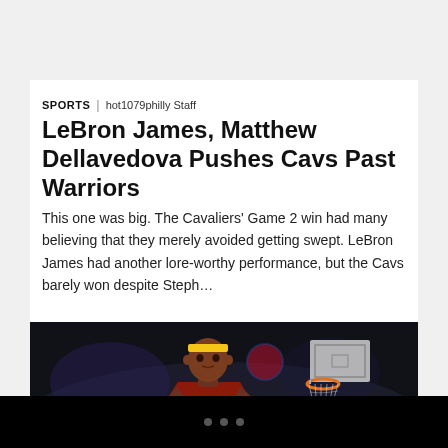SPORTS | hot1079philly Staff
LeBron James, Matthew Dellavedova Pushes Cavs Past Warriors
This one was big. The Cavaliers' Game 2 win had many believing that they merely avoided getting swept. LeBron James had another lore-worthy performance, but the Cavs barely won despite Steph…
[Figure (photo): LeBron James in a Cleveland Cavaliers uniform on a basketball court, with a basketball hoop visible in the background. He is wearing a yellow headband and a dark red jersey.]